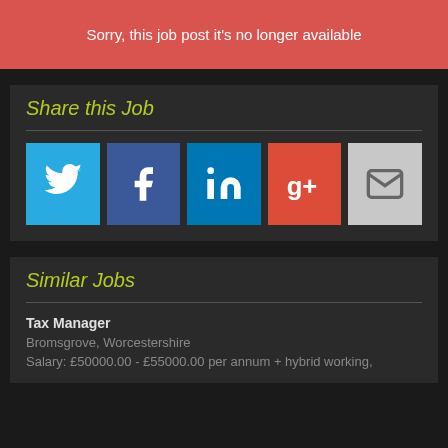Sorry, this job post it's no longer available
Share this Job
[Figure (infographic): Social share buttons: Twitter (blue bird icon), Facebook (f icon), LinkedIn (in icon), Google+ (g+ icon), Email (envelope icon)]
Similar Jobs
Tax Manager
Bromsgrove, Worcestershire
Salary: £50000.00 - £55000.00 per annum + hybrid working,